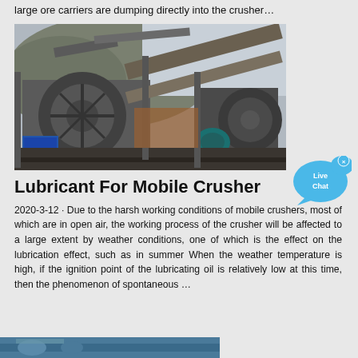large ore carriers are dumping directly into the crusher…
[Figure (photo): Industrial crushing/screening equipment at a mining site with large machinery, conveyor belts, and a hill in the background]
[Figure (other): Live Chat button widget - blue speech bubble with 'Live Chat' text and an X close button]
Lubricant For Mobile Crusher
2020-3-12 · Due to the harsh working conditions of mobile crushers, most of which are in open air, the working process of the crusher will be affected to a large extent by weather conditions, one of which is the effect on the lubrication effect, such as in summer When the weather temperature is high, if the ignition point of the lubricating oil is relatively low at this time, then the phenomenon of spontaneous …
[Figure (photo): Partial view of another industrial machine or crusher at the bottom of the page]